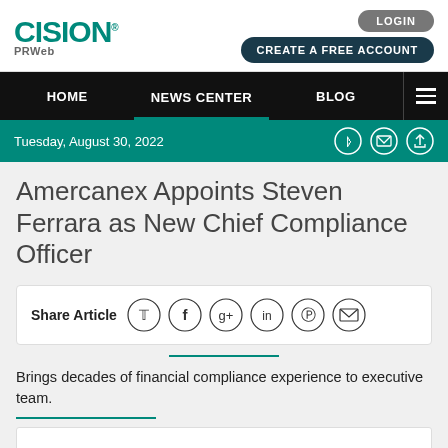CISION PRWeb
LOGIN
CREATE A FREE ACCOUNT
HOME | NEWS CENTER | BLOG
Tuesday, August 30, 2022
Amercanex Appoints Steven Ferrara as New Chief Compliance Officer
Share Article
Brings decades of financial compliance experience to executive team.
DENVER, COLORADO (PRWEB) MAY 08, 2017